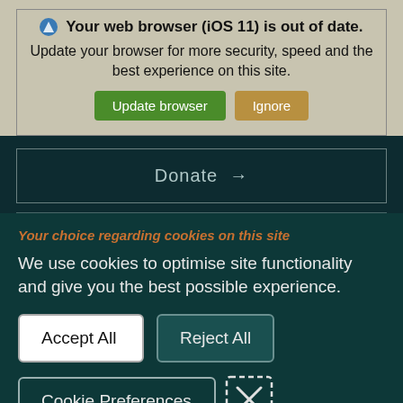Your web browser (iOS 11) is out of date. Update your browser for more security, speed and the best experience on this site.
Update browser | Ignore
Donate →
Your choice regarding cookies on this site
We use cookies to optimise site functionality and give you the best possible experience.
Accept All
Reject All
Cookie Preferences